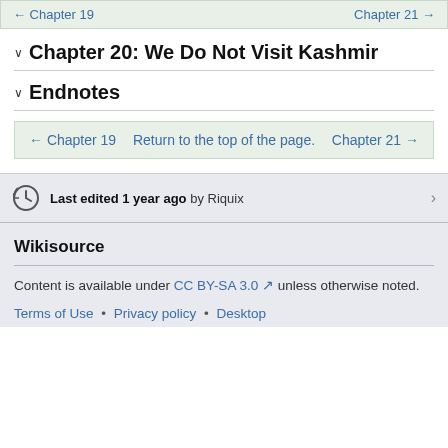← Chapter 19    Chapter 21 →
Chapter 20: We Do Not Visit Kashmir
Endnotes
← Chapter 19    Return to the top of the page.    Chapter 21 →
Last edited 1 year ago by Riquix
Wikisource
Content is available under CC BY-SA 3.0 unless otherwise noted.
Terms of Use • Privacy policy • Desktop